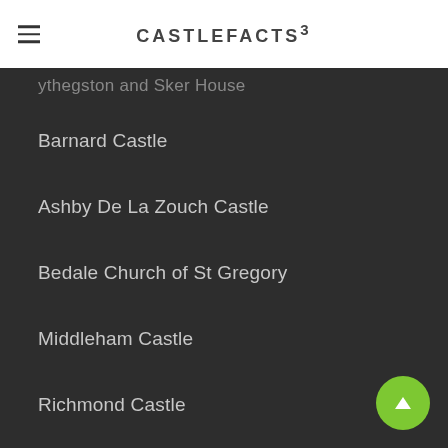CASTLEFACTS³
[Tythegston and Sker House]
Barnard Castle
Ashby De La Zouch Castle
Bedale Church of St Gregory
Middleham Castle
Richmond Castle
Stokesay Castle